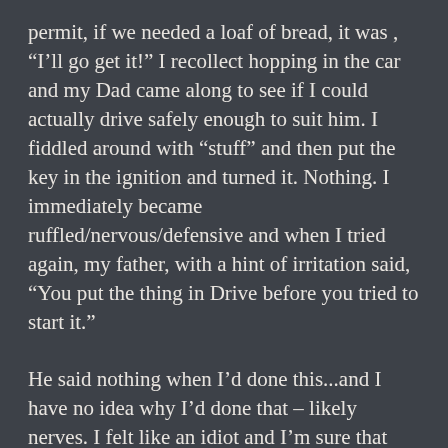permit, if we needed a loaf of bread, it was , “I’ll go get it!” I recollect hopping in the car and my Dad came along to see if I could actually drive safely enough to suit him. I fiddled around with “stuff” and then put the key in the ignition and turned it. Nothing. I immediately became ruffled/nervous/defensive and when I tried again, my father, with a hint of irritation said, “You put the thing in Drive before you tried to start it.”
He said nothing when I’d done this...and I have no idea why I’d done that – likely nerves. I felt like an idiot and I’m sure that